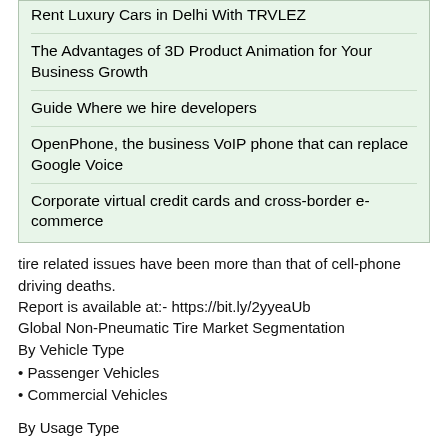Rent Luxury Cars in Delhi With TRVLEZ
The Advantages of 3D Product Animation for Your Business Growth
Guide Where we hire developers
OpenPhone, the business VoIP phone that can replace Google Voice
Corporate virtual credit cards and cross-border e-commerce
tire related issues have been more than that of cell-phone driving deaths.
Report is available at:- https://bit.ly/2yyeaUb
Global Non-Pneumatic Tire Market Segmentation
By Vehicle Type
Passenger Vehicles
Commercial Vehicles
By Usage Type